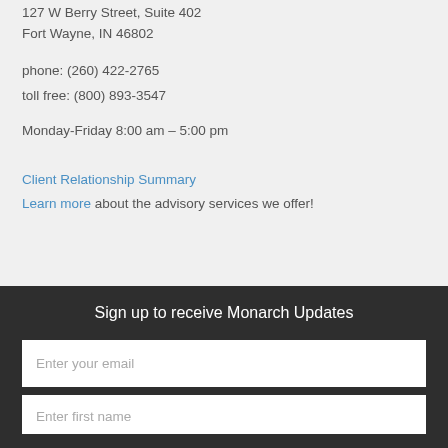127 W Berry Street, Suite 402
Fort Wayne, IN 46802
phone: (260) 422-2765
toll free: (800) 893-3547
Monday-Friday 8:00 am – 5:00 pm
Client Relationship Summary
Learn more about the advisory services we offer!
Sign up to receive Monarch Updates
Enter your email
Enter first name